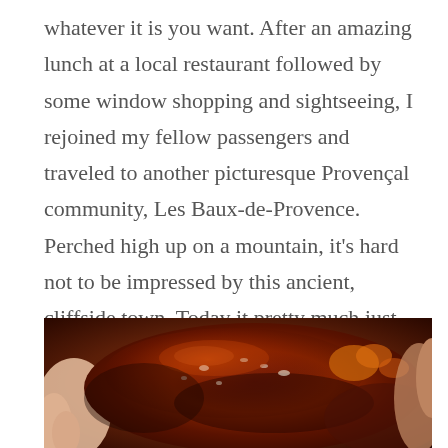whatever it is you want. After an amazing lunch at a local restaurant followed by some window shopping and sightseeing, I rejoined my fellow passengers and traveled to another picturesque Provençal community, Les Baux-de-Provence. Perched high up on a mountain, it's hard not to be impressed by this ancient, cliffside town. Today it pretty much just exists for tourists, but its history is long and interesting and there is nothing quite like wandering around its winding streets and enjoying a coffee overlooking the valley below.
[Figure (photo): Close-up photo of a glazed, braised meat dish with a rich dark sauce, held by hands, with warm reddish-brown tones.]